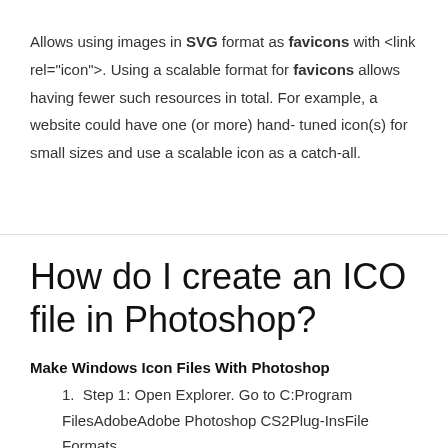Allows using images in SVG format as favicons with <link rel="icon">. Using a scalable format for favicons allows having fewer such resources in total. For example, a website could have one (or more) hand-tuned icon(s) for small sizes and use a scalable icon as a catch-all.
How do I create an ICO file in Photoshop?
Make Windows Icon Files With Photoshop
Step 1: Open Explorer. Go to C:Program FilesAdobeAdobe Photoshop CS2Plug-InsFile Formats